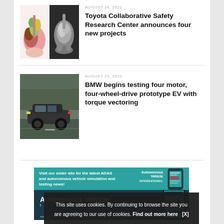[Figure (photo): Medical/foot anatomy illustration and X-ray image side by side]
AUGUST 24, 2022
Toyota Collaborative Safety Research Center announces four new projects
[Figure (photo): BMW prototype EV car on a racetrack]
AUGUST 23, 2022
BMW begins testing four motor, four-wheel-drive prototype EV with torque vectoring
[Figure (screenshot): Advertisement for Autonomous Vehicle International website, teal and dark background with phone mockup]
This site uses cookies. By continuing to browse the site you are agreeing to our use of cookies. Find out more here   [X]